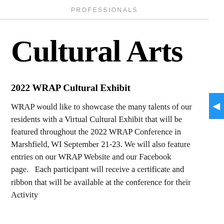PROFESSIONALS
Cultural Arts
2022 WRAP Cultural Exhibit
WRAP would like to showcase the many talents of our residents with a Virtual Cultural Exhibit that will be featured throughout the 2022 WRAP Conference in Marshfield, WI September 21-23. We will also feature entries on our WRAP Website and our Facebook page.   Each participant will receive a certificate and ribbon that will be available at the conference for their Activity